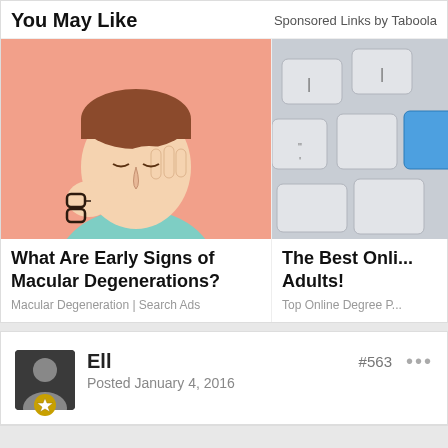You May Like
Sponsored Links by Taboola
[Figure (illustration): Illustration of a man in a teal shirt rubbing his eyes and holding glasses, suggesting eye strain or macular issues. Pink background.]
What Are Early Signs of Macular Degenerations?
Macular Degeneration | Search Ads
[Figure (photo): Photo of a white keyboard with a blue key, partially cropped.]
The Best Online ... Adults!
Top Online Degree P...
Ell
Posted January 4, 2016
#563
•••